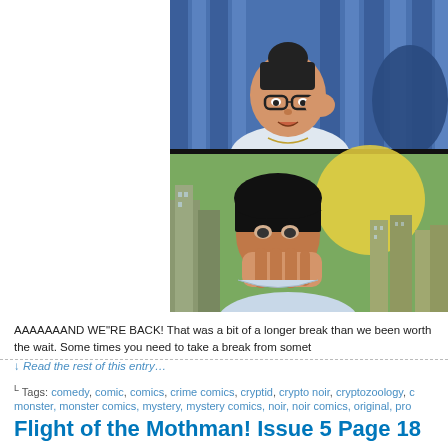[Figure (illustration): Two comic panels showing a female character with glasses and dark hair in the top panel (blue interior background), and a male character with dark hair covering his mouth with his hand in the bottom panel (city skyline with yellow/green sky background)]
AAAAAAAND WE"RE BACK! That was a bit of a longer break than we been worth the wait. Some times you need to take a break from somet
↓ Read the rest of this entry…
Tags: comedy, comic, comics, crime comics, cryptid, crypto noir, cryptozoology, c monster, monster comics, mystery, mystery comics, noir, noir comics, original, pro
Flight of the Mothman! Issue 5 Page 18